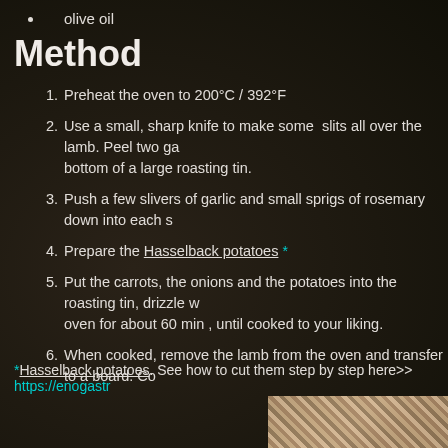olive oil
Method
Preheat the oven to 200°C / 392°F
Use a small, sharp knife to make some  slits all over the lamb. Peel two ga bottom of a large roasting tin.
Push a few slivers of garlic and small sprigs of rosemary down into each s
Prepare the Hasselback potatoes *
Put the carrots, the onions and the potatoes into the roasting tin, drizzle w oven for about 60 min , until cooked to your liking.
When cooked, remove the lamb from the oven and transfer to a board. Co
*Hasselback potatoes. See how to cut them step by step here>> https://enogastr